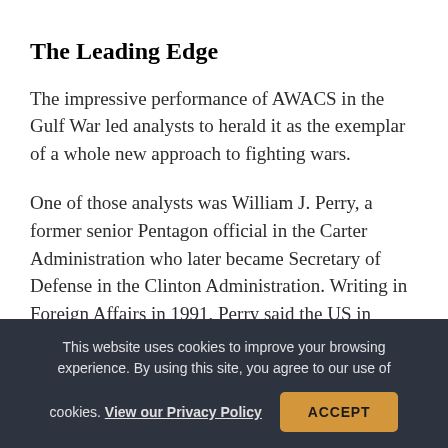The Leading Edge
The impressive performance of AWACS in the Gulf War led analysts to herald it as the exemplar of a whole new approach to fighting wars.
One of those analysts was William J. Perry, a former senior Pentagon official in the Carter Administration who later became Secretary of Defense in the Clinton Administration. Writing in Foreign Affairs in 1991, Perry said the US in Desert Storm had
This website uses cookies to improve your browsing experience. By using this site, you agree to our use of cookies. View our Privacy Policy
ACCEPT